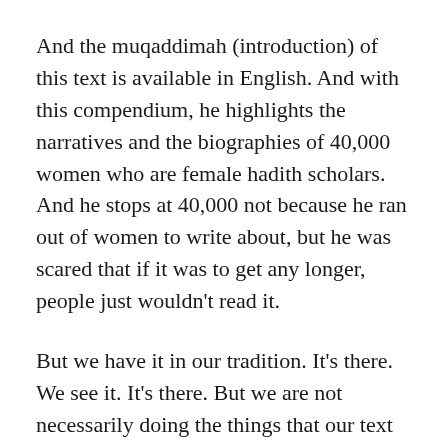And the muqaddimah (introduction) of this text is available in English. And with this compendium, he highlights the narratives and the biographies of 40,000 women who are female hadith scholars. And he stops at 40,000 not because he ran out of women to write about, but he was scared that if it was to get any longer, people just wouldn't read it.
But we have it in our tradition. It's there. We see it. It's there. But we are not necessarily doing the things that our text tell us to do. We are governing our actions via a cultural imperative that does not necessarily find synergies with what our religion says to be imperative.
And this is something that was mentioned before, that we can't equate our subjective understandings of morality and ethics to every single circumstance